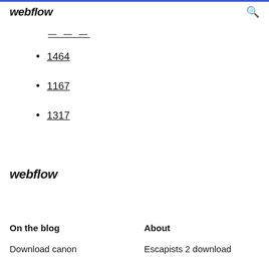webflow
---
1464
1167
1317
webflow
On the blog
About
Download canon
Escapists 2 download